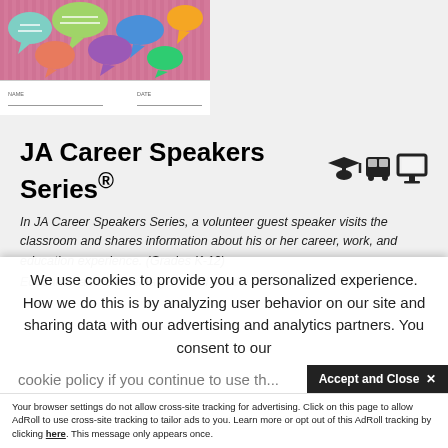[Figure (illustration): Colorful speech bubbles illustration on a pink striped background with a name/date form field below]
JA Career Speakers Series®
[Figure (infographic): Three icons: graduation cap, bus, and computer monitor]
In JA Career Speakers Series, a volunteer guest speaker visits the classroom and shares information about his or her career, work, and education experience. (Grades K-12)
We use cookies to provide you a personalized experience. How we do this is by analyzing user behavior on our site and sharing data with our advertising and analytics partners. You consent to our cookie policy if you continue to use this...
Accept and Close ✕
Your browser settings do not allow cross-site tracking for advertising. Click on this page to allow AdRoll to use cross-site tracking to tailor ads to you. Learn more or opt out of this AdRoll tracking by clicking here. This message only appears once.